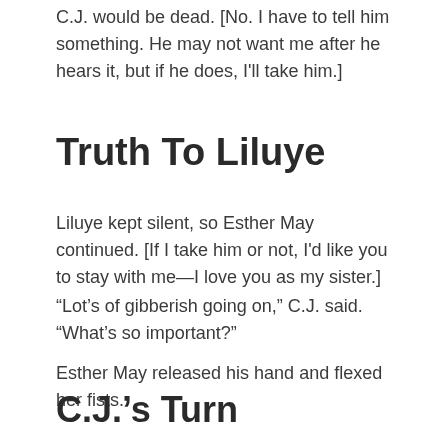C.J. would be dead. [No. I have to tell him something. He may not want me after he hears it, but if he does, I'll take him.]
Truth To Liluye
Liluye kept silent, so Esther May continued. [If I take him or not, I'd like you to stay with me—I love you as my sister.]
“Lot’s of gibberish going on,” C.J. said. “What’s so important?”
Esther May released his hand and flexed her fists.
C.J.’s Turn
“OK, here goes. Do you remember when we first met at